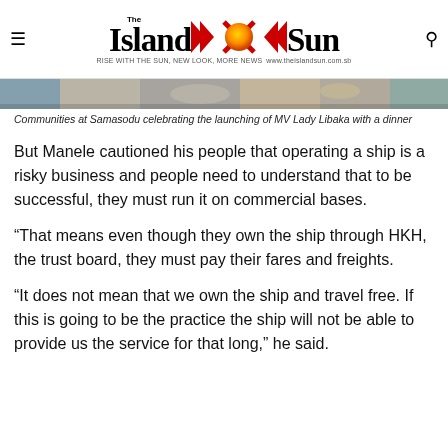The Island Sun — RISE WITH THE SUN, NEW LOOK, MORE NEWS — www.theislandsun.com.sb
[Figure (photo): Partial view of communities at Samasodu celebrating the launching of MV Lady Libaka with a dinner — food and decorations visible]
Communities at Samasodu celebrating the launching of MV Lady Libaka with a dinner
But Manele cautioned his people that operating a ship is a risky business and people need to understand that to be successful, they must run it on commercial bases.
“That means even though they own the ship through HKH, the trust board, they must pay their fares and freights.
“It does not mean that we own the ship and travel free. If this is going to be the practice the ship will not be able to provide us the service for that long,” he said.